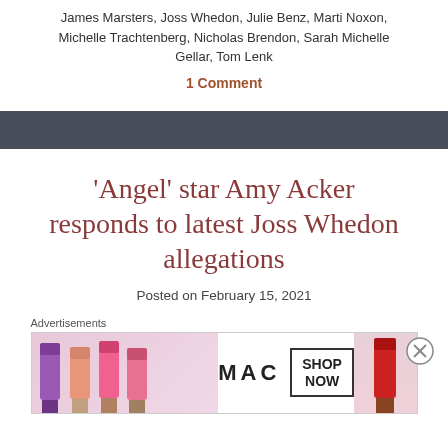James Marsters, Joss Whedon, Julie Benz, Marti Noxon, Michelle Trachtenberg, Nicholas Brendon, Sarah Michelle Gellar, Tom Lenk
1 Comment
'Angel' star Amy Acker responds to latest Joss Whedon allegations
Posted on February 15, 2021
[Figure (other): MAC cosmetics advertisement banner showing lipsticks in purple, peach, pink and red colors with MAC logo and SHOP NOW button]